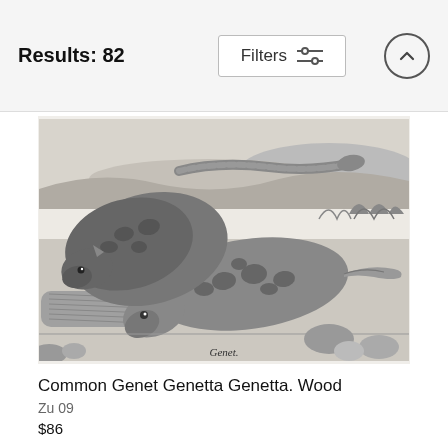Results: 82
[Figure (screenshot): Filters button with sliders icon and up-arrow circle button in top navigation bar]
[Figure (illustration): Vintage black and white wood engraving illustration of Common Genet (Genetta Genetta) animals in a natural setting, with the German caption 'Genet.' at the bottom]
Common Genet Genetta Genetta. Wood
Zu 09
$86